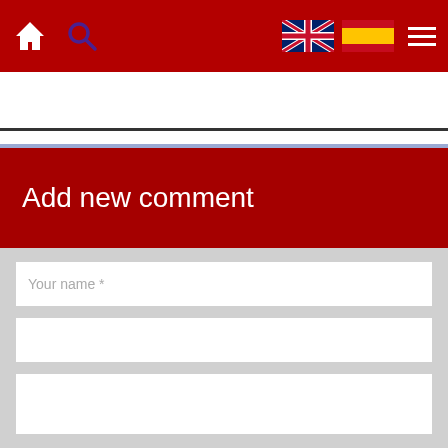[Figure (screenshot): Red navigation bar with home icon, search icon, UK flag, Spanish flag, and hamburger menu]
[Figure (screenshot): Light blue/purple toolbar showing '129 reads' with print, email, PDF icons, and Facebook, Twitter social icons]
Add new comment
[Figure (screenshot): Comment form with 'Your name *' text input field, a second empty input field, and a large empty textarea]